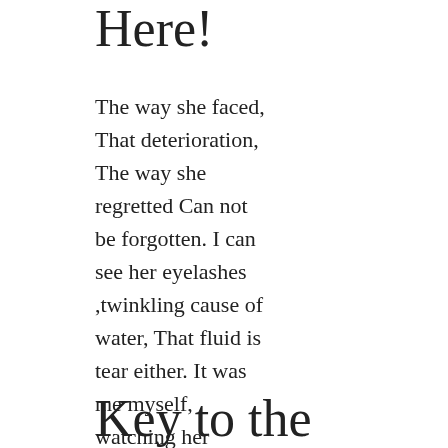Here!
The way she faced, That deterioration, The way she regretted Can not be forgotten. I can see her eyelashes ,twinkling cause of water, That fluid is tear either. It was me myself, watching her Read More
Key to the